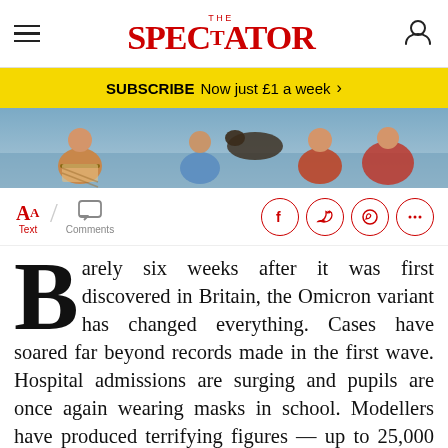THE SPECTATOR
SUBSCRIBE Now just £1 a week >
[Figure (illustration): Colourful illustrated header image showing figures in a beach or festive scene]
Text / Comments — social share icons (Facebook, Twitter, WhatsApp, more)
Barely six weeks after it was first discovered in Britain, the Omicron variant has changed everything. Cases have soared far beyond records made in the first wave. Hospital admissions are surging and pupils are once again wearing masks in school. Modellers have produced terrifying figures — up to 25,000 hospitalisations a day, more than five times the last peak. It looks like a Covid catastrophe ahead.